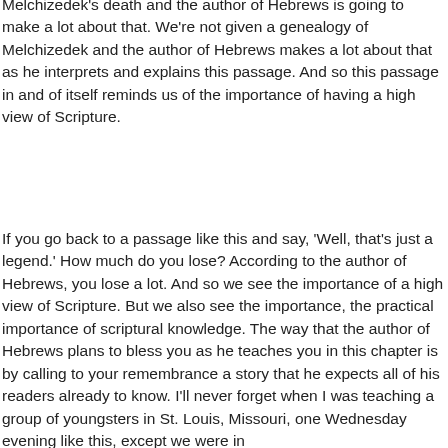Melchizedek's death and the author of Hebrews is going to make a lot about that. We're not given a genealogy of Melchizedek and the author of Hebrews makes a lot about that as he interprets and explains this passage. And so this passage in and of itself reminds us of the importance of having a high view of Scripture.
If you go back to a passage like this and say, 'Well, that's just a legend.' How much do you lose? According to the author of Hebrews, you lose a lot. And so we see the importance of a high view of Scripture. But we also see the importance, the practical importance of scriptural knowledge. The way that the author of Hebrews plans to bless you as he teaches you in this chapter is by calling to your remembrance a story that he expects all of his readers already to know. I'll never forget when I was teaching a group of youngsters in St. Louis, Missouri, one Wednesday evening like this, except we were in